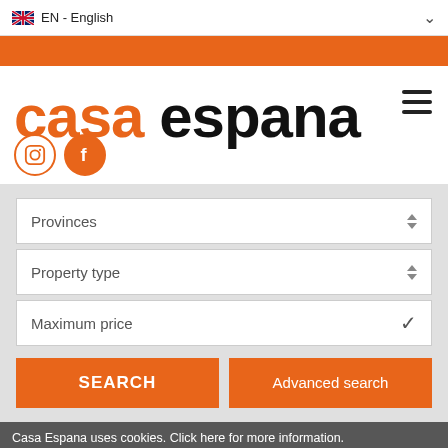EN - English
[Figure (logo): Casa Espana logo with orange 'casa' and black 'espana' text, hamburger menu icon, Instagram and Facebook social icons]
Provinces
Property type
Maximum price
SEARCH
Advanced search
Casa Espana uses cookies. Click here for more information.
Flamingos Close 9.000.-